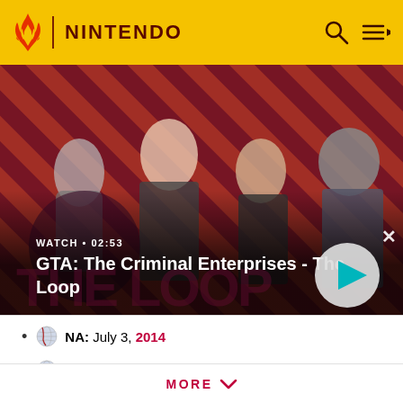NINTENDO
[Figure (screenshot): GTA: The Criminal Enterprises - The Loop video thumbnail showing four game characters on a red diagonal striped background. WATCH · 02:53 label and play button visible.]
GTA: The Criminal Enterprises - The Loop
NA: July 3, 2014
JP: April 30, 2014
EU: June 26, 2014
MORE